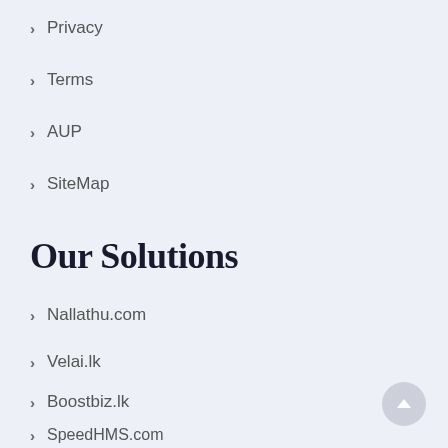Privacy
Terms
AUP
SiteMap
Our Solutions
Nallathu.com
Velai.lk
Boostbiz.lk
SpeedHMS.com